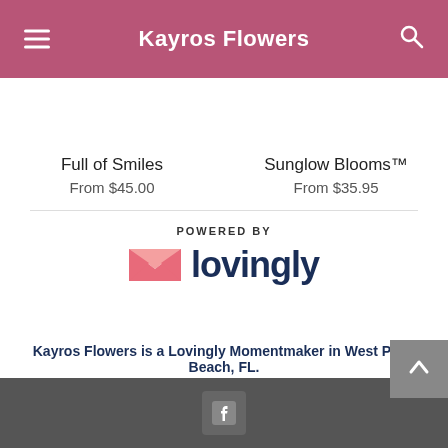Kayros Flowers
Full of Smiles
From $45.00
Sunglow Blooms™
From $35.95
[Figure (logo): Lovingly logo with heart/envelope icon and wordmark. Text: POWERED BY lovingly]
Kayros Flowers is a Lovingly Momentmaker in West Palm Beach, FL.
Buying local matters. Discover how Lovingly is committed to strengthening relationships by helping local florists market, sell, and deliver their floral designs online.
Footer with Facebook icon